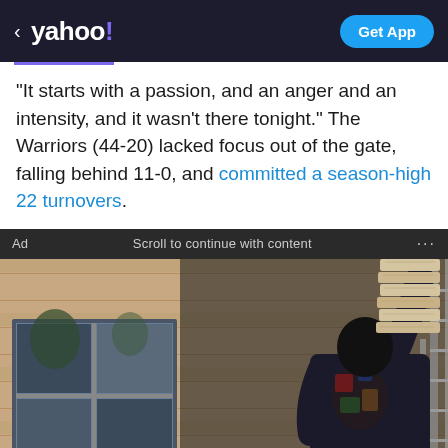< yahoo! | Get App
“It starts with a passion, and an anger and an intensity, and it wasn’t there tonight.” The Warriors (44-20) lacked focus out of the gate, falling behind 11-0, and committed a season-high 22 turnovers.
Ad   Scroll to continue with content   ...
[Figure (photo): A person in dark clothing climbing a ladder outside a house, carrying a stack of materials over their shoulder. The house has light-colored horizontal siding and a window visible on the left.]
How Much Would